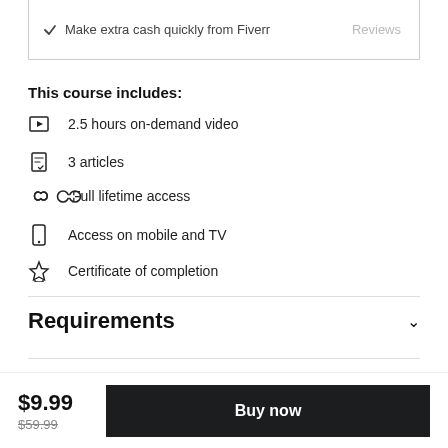Make extra cash quickly from Fiverr
This course includes:
2.5 hours on-demand video
3 articles
Full lifetime access
Access on mobile and TV
Certificate of completion
Requirements
$9.99
$59.99
Buy now